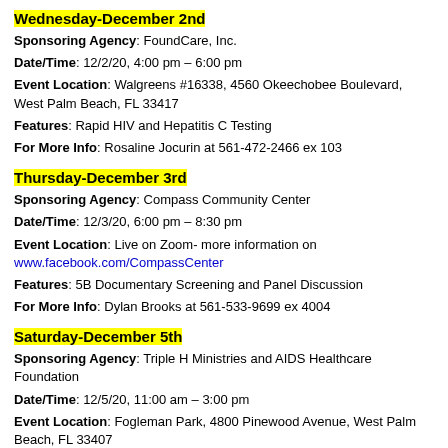Wednesday-December 2nd
Sponsoring Agency: FoundCare, Inc.
Date/Time: 12/2/20, 4:00 pm – 6:00 pm
Event Location: Walgreens #16338, 4560 Okeechobee Boulevard, West Palm Beach, FL 33417
Features: Rapid HIV and Hepatitis C Testing
For More Info: Rosaline Jocurin at 561-472-2466 ex 103
Thursday-December 3rd
Sponsoring Agency: Compass Community Center
Date/Time: 12/3/20, 6:00 pm – 8:30 pm
Event Location: Live on Zoom- more information on www.facebook.com/CompassCenter
Features: 5B Documentary Screening and Panel Discussion
For More Info: Dylan Brooks at 561-533-9699 ex 4004
Saturday-December 5th
Sponsoring Agency: Triple H Ministries and AIDS Healthcare Foundation
Date/Time: 12/5/20, 11:00 am – 3:00 pm
Event Location: Fogleman Park, 4800 Pinewood Avenue, West Palm Beach, FL 33407